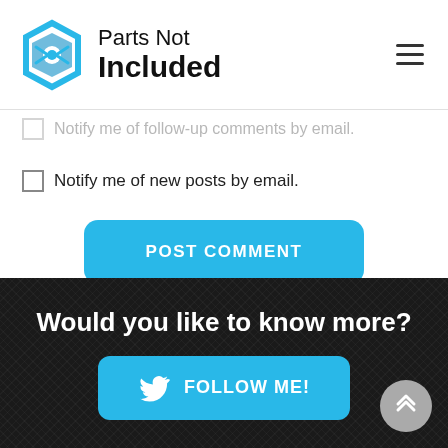Parts Not Included
Notify me of follow-up comments by email.
Notify me of new posts by email.
POST COMMENT
This site uses Akismet to reduce spam. Learn how your comment data is processed.
Would you like to know more?
FOLLOW ME!